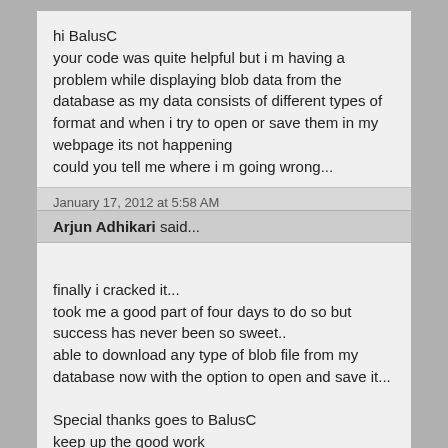hi BalusC
your code was quite helpful but i m having a problem while displaying blob data from the database as my data consists of different types of format and when i try to open or save them in my webpage its not happening
could you tell me where i m going wrong...
January 17, 2012 at 5:58 AM
Arjun Adhikari said...
finally i cracked it...
took me a good part of four days to do so but success has never been so sweet..
able to download any type of blob file from my database now with the option to open and save it...

Special thanks goes to BalusC
keep up the good work
January 19, 2012 at 6:25 AM